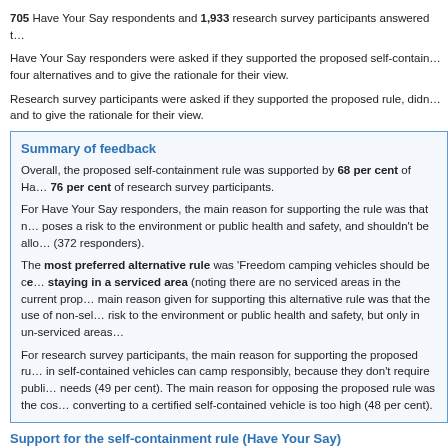705 Have Your Say respondents and 1,933 research survey participants answered t...
Have Your Say responders were asked if they supported the proposed self-containment rule or one of four alternatives and to give the rationale for their view.
Research survey participants were asked if they supported the proposed rule, didn't support it and to give the rationale for their view.
Summary of feedback
Overall, the proposed self-containment rule was supported by 68 per cent of Have Your Say and 76 per cent of research survey participants.
For Have Your Say responders, the main reason for supporting the rule was that non-self-contained camping poses a risk to the environment or public health and safety, and shouldn't be allowed (372 responders).
The most preferred alternative rule was 'Freedom camping vehicles should be certified self-contained when staying in a serviced area (noting there are no serviced areas in the current proposal). The main reason given for supporting this alternative rule was that the use of non-self-contained vehicles poses a risk to the environment or public health and safety, but only in un-serviced areas.
For research survey participants, the main reason for supporting the proposed rule was that people in self-contained vehicles can camp responsibly, because they don't require public facilities for their needs (49 per cent). The main reason for opposing the proposed rule was the cost and effort of converting to a certified self-contained vehicle is too high (48 per cent).
Support for the self-containment rule (Have Your Say)
Yes – freedom camping vehicles should be certified self-contained